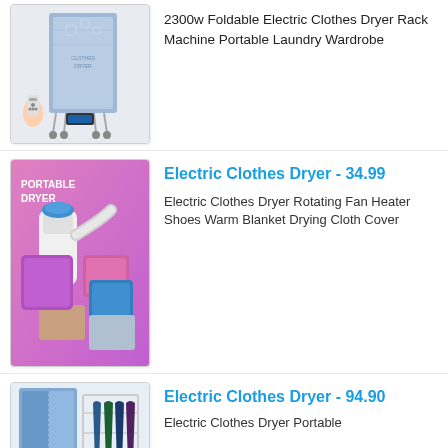[Figure (photo): Photo of a 2300w foldable electric clothes dryer rack machine - a blue fabric wardrobe-style dryer with a remote control shown in the foreground]
2300w Foldable Electric Clothes Dryer Rack Machine Portable Laundry Wardrobe
[Figure (photo): Product image showing a portable electric clothes dryer with rotating fan heater components in pink, purple and blue colors on a purple/pink background with text PORTABLE DRYER]
Electric Clothes Dryer - 34.99
Electric Clothes Dryer Rotating Fan Heater Shoes Warm Blanket Drying Cloth Cover
[Figure (photo): Photo of an electric clothes dryer portable wardrobe with blue fabric cover and metal rack frame with hanging clothes visible]
Electric Clothes Dryer - 94.90
Electric Clothes Dryer Portable